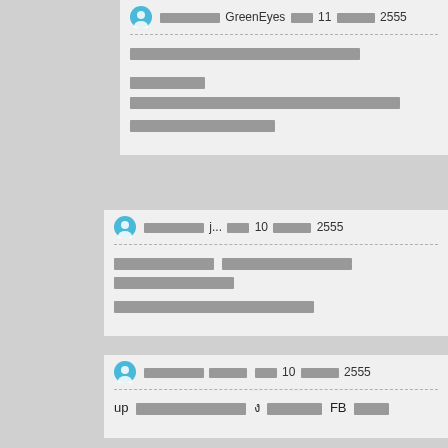ผู้ใช้งาน GreenEyes เมื่อ 11 มีนาคม 2555
[Thai text content]
ผู้ใช้งาน j... เมื่อ 10 มีนาคม 2555
[Thai text content]
ผู้ใช้งาน ลบแล้ว เมื่อ 10 มีนาคม 2555
up [Thai text] ง [Thai text] FB [Thai text]